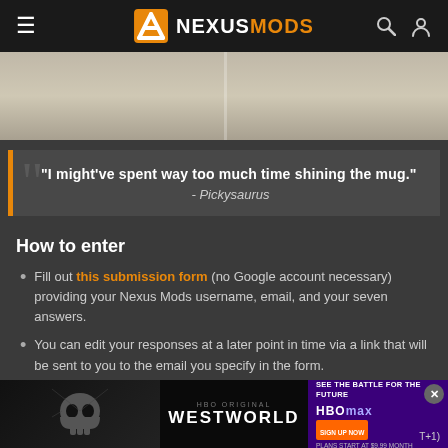NEXUSMODS
[Figure (photo): Hero image showing a pale/beige background, partially visible game mod screenshot]
"I might've spent way too much time shining the mug." - Pickysaurus
How to enter
Fill out this submission form (no Google account necessary) providing your Nexus Mods username, email, and your seven answers.
You can edit your responses at a later point in time via a link that will be sent to you to the email you specify in the form.
[Figure (screenshot): Westworld HBO Max advertisement banner at bottom of page]